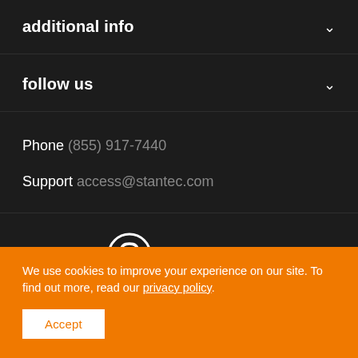additional info
follow us
Phone (855) 917-7440
Support access@stantec.com
[Figure (logo): Stantec logo - circular S icon with Stantec wordmark]
We use cookies to improve your experience on our site. To find out more, read our privacy policy.
Accept